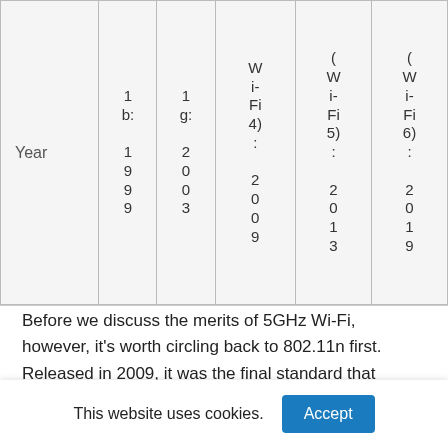| Year | 802.11b: 1999 | 802.11g: 2003 | (Wi-Fi 4): 2009 | (Wi-Fi 5): 2013 | (Wi-Fi 6): 2019 |
| --- | --- | --- | --- | --- | --- |
| Year | 802.11b: 1999 | 802.11g: 2003 | (Wi-Fi 4): 2009 | (Wi-Fi 5): 2013 | (Wi-Fi 6): 2019 |
Before we discuss the merits of 5GHz Wi-Fi, however, it's worth circling back to 802.11n first. Released in 2009, it was the final standard that worked to improve the 2.4GHz
This website uses cookies.